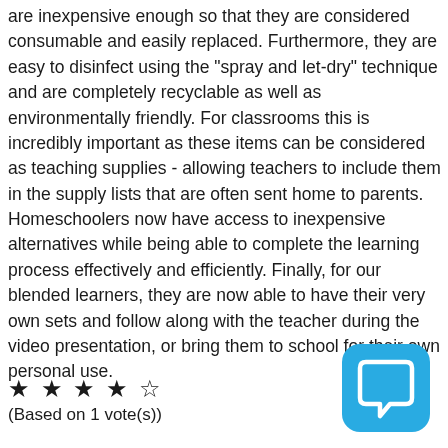are inexpensive enough so that they are considered consumable and easily replaced. Furthermore, they are easy to disinfect using the "spray and let-dry" technique and are completely recyclable as well as environmentally friendly. For classrooms this is incredibly important as these items can be considered as teaching supplies - allowing teachers to include them in the supply lists that are often sent home to parents. Homeschoolers now have access to inexpensive alternatives while being able to complete the learning process effectively and efficiently. Finally, for our blended learners, they are now able to have their very own sets and follow along with the teacher during the video presentation, or bring them to school for their own personal use.
★ ★ ★ ★ ☆
(Based on 1 vote(s))
[Figure (illustration): Blue rounded square icon with a white speech bubble / chat icon inside]